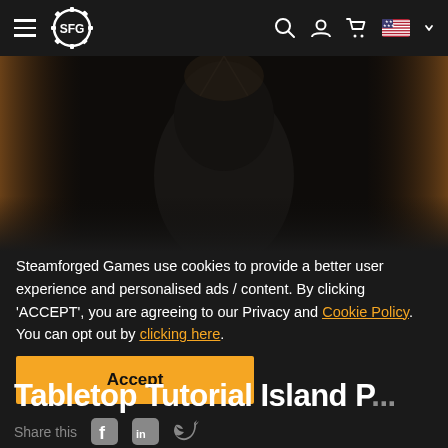SFG navigation bar with hamburger menu, SFG logo, search, account, cart, and US flag icons
[Figure (photo): Dark atmospheric hero image showing a cloaked/hooded figure from behind, with warm curtain-like elements on the sides, heavily shadowed and moody]
Steamforged Games use cookies to provide a better user experience and personalised ads / content. By clicking 'ACCEPT', you are agreeing to our Privacy and Cookie Policy. You can opt out by clicking here.
Accept
Tabletop Tutorial Island P...
Share this